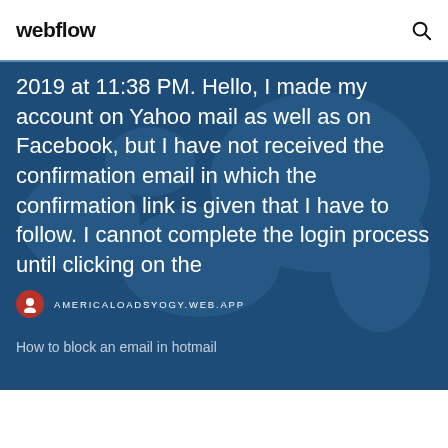webflow
2019 at 11:38 PM. Hello, I made my account on Yahoo mail as well as on Facebook, but I have not received the confirmation email in which the confirmation link is given that I have to follow. I cannot complete the login process until clicking on the
AMERICALOADSYOGY.WEB.APP
How to block an email in hotmail